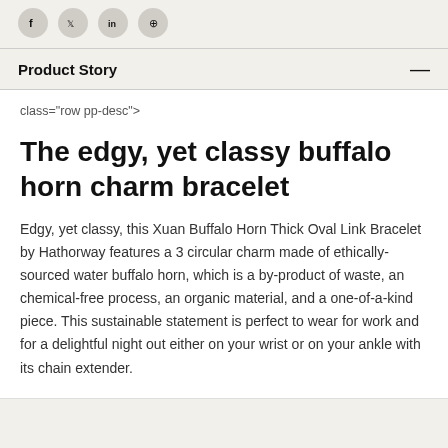[Figure (other): Social media sharing icons (Facebook, Twitter, LinkedIn, Pinterest) as dark circular buttons]
Product Story
class="row pp-desc">
The edgy, yet classy buffalo horn charm bracelet
Edgy, yet classy, this Xuan Buffalo Horn Thick Oval Link Bracelet by Hathorway features a 3 circular charm made of ethically-sourced water buffalo horn, which is a by-product of waste, an chemical-free process, an organic material, and a one-of-a-kind piece. This sustainable statement is perfect to wear for work and for a delightful night out either on your wrist or on your ankle with its chain extender.